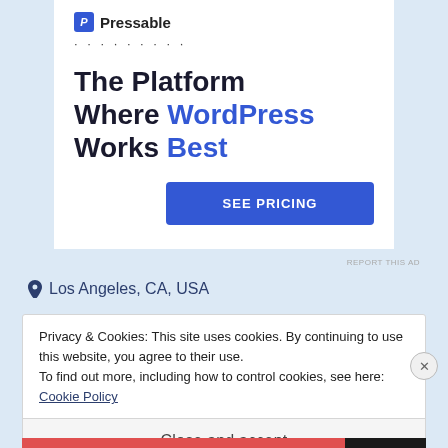[Figure (screenshot): Pressable advertisement banner with logo, dotted line, headline 'The Platform Where WordPress Works Best' and a blue 'SEE PRICING' button]
REPORT THIS AD
📍 Los Angeles, CA, USA
Privacy & Cookies: This site uses cookies. By continuing to use this website, you agree to their use.
To find out more, including how to control cookies, see here: Cookie Policy
Close and accept